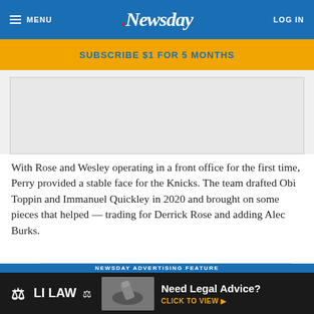MENU | Newsday | LOG IN
SUBSCRIBE $1 FOR 5 MONTHS
[Figure (other): Advertisement placeholder area (gray box)]
With Rose and Wesley operating in a front office for the first time, Perry provided a stable face for the Knicks. The team drafted Obi Toppin and Immanuel Quickley in 2020 and brought on some pieces that helped — trading for Derrick Rose and adding Alec Burks.
Before Rose arrived Perry spent three seasons alongside Steve Mills. The Knicks were 67-163 in that time, but Perry did ba...
Cookies — By continuing to use our site, you agree to an Terms of ...
[Figure (other): LI LAW advertisement banner — Need Legal Advice? CLICK TO VIEW with gavel image. NEWSDAY ADVERTISING FEATURE label.]